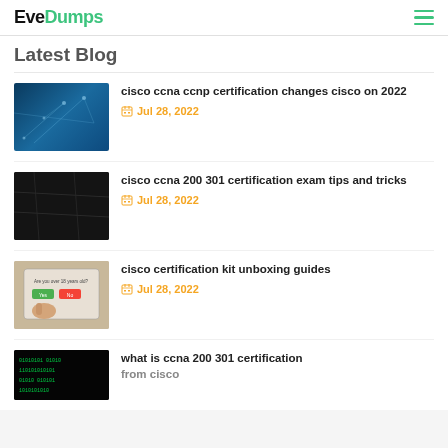EveDumps
Latest Blog
cisco ccna ccnp certification changes cisco on 2022 — Jul 28, 2022
cisco ccna 200 301 certification exam tips and tricks — Jul 28, 2022
cisco certification kit unboxing guides — Jul 28, 2022
what is ccna 200 301 certification from cisco